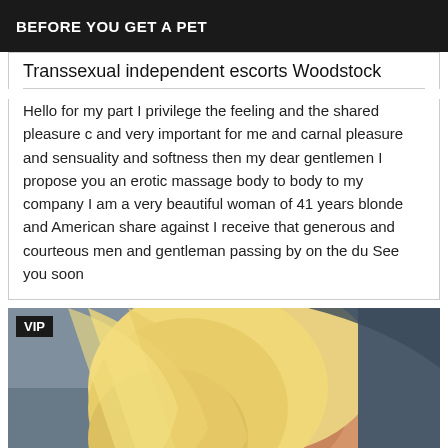BEFORE YOU GET A PET
Transsexual independent escorts Woodstock
Hello for my part I privilege the feeling and the shared pleasure c and very important for me and carnal pleasure and sensuality and softness then my dear gentlemen I propose you an erotic massage body to body to my company I am a very beautiful woman of 41 years blonde and American share against I receive that generous and courteous men and gentleman passing by on the du See you soon
[Figure (photo): Photo of a blonde woman, back view, with VIP badge overlay in top left corner]